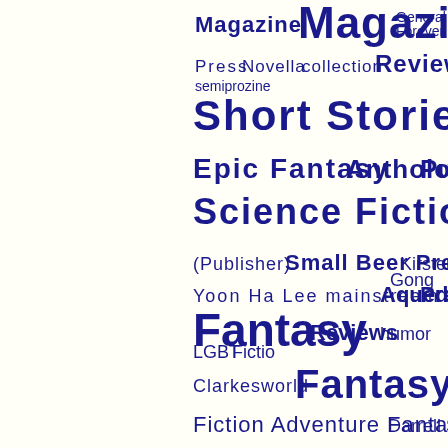[Figure (infographic): A word cloud featuring publishing and literary genre terms in dark blue/navy color on a near-white background. Words vary in font size reflecting frequency/importance. Largest words include: Magazine, Short Stories, Firkin Press, Science Fiction, Adventure Fantasy, Fantasy, Fantasy Beneath, Short Story, Wildside Press, General. Medium words: Reviews, collection, Novella, Press, General Forever, semiprozine, Epic Fantasy, Anthology, Publishing, Small Beer Press, Kirsten Gong, Yoon Ha Lee, mainstream, Aqueduct Press, Clarkesworld, Fiction, Adventure, Darrell Schw, PM Press, Andy C, Andrews (Editor), Dark Fantasy Li, Wyrm Publishing, Ca, Story Collection, novel, Catherynne M. Valente, A, Locus Sci, Burrowing Wombat Press, The Dark.]